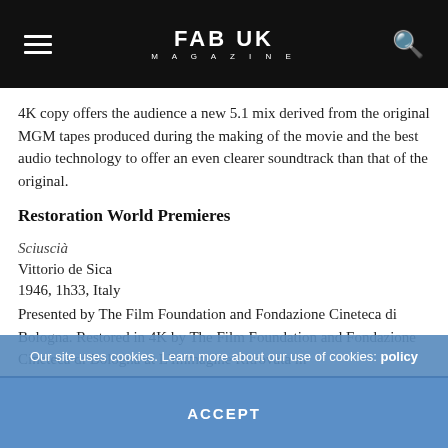FAB UK MAGAZINE
4K copy offers the audience a new 5.1 mix derived from the original MGM tapes produced during the making of the movie and the best audio technology to offer an even clearer soundtrack than that of the original.
Restoration World Premieres
Sciuscià
Vittorio de Sica
1946, 1h33, Italy
Presented by The Film Foundation and Fondazione Cineteca di Bologna. Restored in 4K by The Film Foundation and Fondazione Cineteca di Bologna at L'Immagine Ritrovata in
Our site uses cookies. Learn more about our use of cookies: policy
ACCEPT